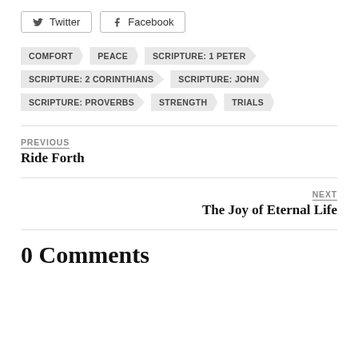Twitter  Facebook
COMFORT
PEACE
SCRIPTURE: 1 PETER
SCRIPTURE: 2 CORINTHIANS
SCRIPTURE: JOHN
SCRIPTURE: PROVERBS
STRENGTH
TRIALS
PREVIOUS
Ride Forth
NEXT
The Joy of Eternal Life
0 Comments